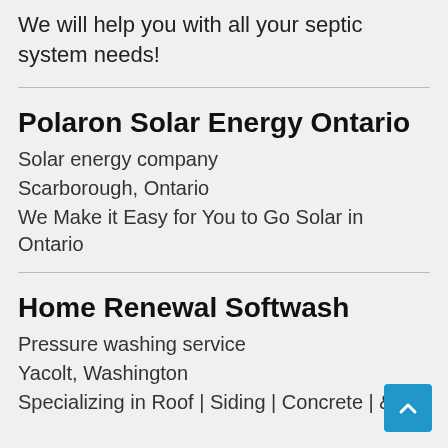We will help you with all your septic system needs!
Polaron Solar Energy Ontario
Solar energy company
Scarborough, Ontario
We Make it Easy for You to Go Solar in Ontario
Home Renewal Softwash
Pressure washing service
Yacolt, Washington
Specializing in Roof | Siding | Concrete | &